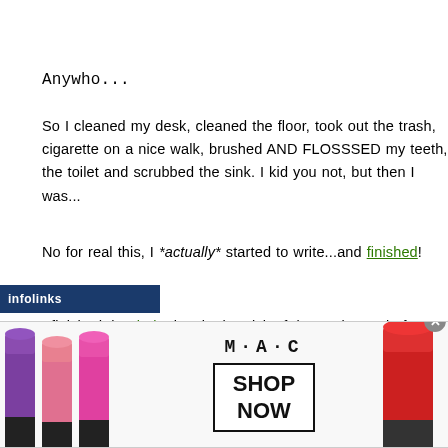Anywho...
So I cleaned my desk, cleaned the floor, took out the trash, had a cigarette on a nice walk, brushed AND FLOSSSED my teeth, even cleaned the toilet and scrubbed the sink. I kid you not, but then I was...
No for real this, I *actually* started to write...and finished!
I finished that baby just in the nick of time, minutes before d...
Procrastination brings out adrenaline and I turn on BB...
[Figure (advertisement): M·A·C cosmetics advertisement showing lipsticks and SHOP NOW button, with infolinks bar overlay]